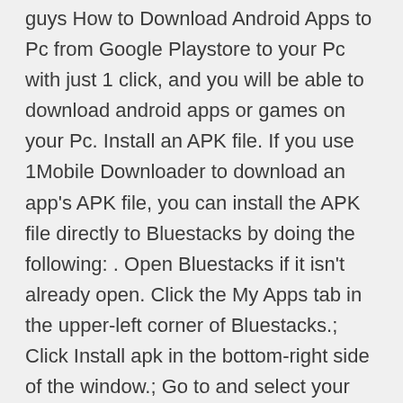guys How to Download Android Apps to Pc from Google Playstore to your Pc with just 1 click, and you will be able to download android apps or games on your Pc. Install an APK file. If you use 1Mobile Downloader to download an app's APK file, you can install the APK file directly to Bluestacks by doing the following: . Open Bluestacks if it isn't already open. Click the My Apps tab in the upper-left corner of Bluestacks.; Click Install apk in the bottom-right side of the window.; Go to and select your APK file in the window that opens. Don't regret, because there are 100's of websites which can help us to download any of our favorite apps on the google play store. In this article on How to Download Google PlayStore Apps directly to PC, we are giving the steps to get those Android apps to your PC without the help of any Android devices. So, carefully follow the steps below #6: If the app is available, then download and install it on your windows. If the app is not available, then follow the method two to install it on PC. Related: How to Install Google Play Store App